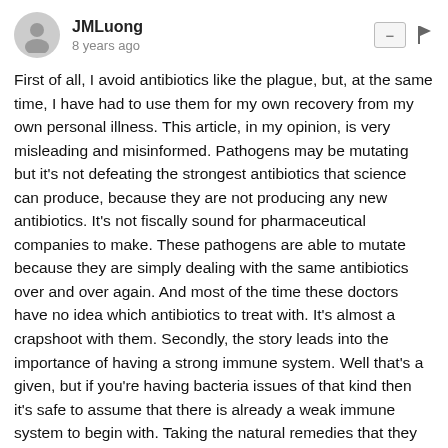JMLuong
8 years ago
First of all, I avoid antibiotics like the plague, but, at the same time, I have had to use them for my own recovery from my own personal illness. This article, in my opinion, is very misleading and misinformed. Pathogens may be mutating but it's not defeating the strongest antibiotics that science can produce, because they are not producing any new antibiotics. It's not fiscally sound for pharmaceutical companies to make. These pathogens are able to mutate because they are simply dealing with the same antibiotics over and over again. And most of the time these doctors have no idea which antibiotics to treat with. It's almost a crapshoot with them. Secondly, the story leads into the importance of having a strong immune system. Well that's a given, but if you're having bacteria issues of that kind then it's safe to assume that there is already a weak immune system to begin with. Taking the natural remedies that they say should work won't simply because there isn't a strong immune system and most likely something else is helping to cause the problem. This is coming from a guy who has had to deal with his own health issues because doctors gave me no answers my issues